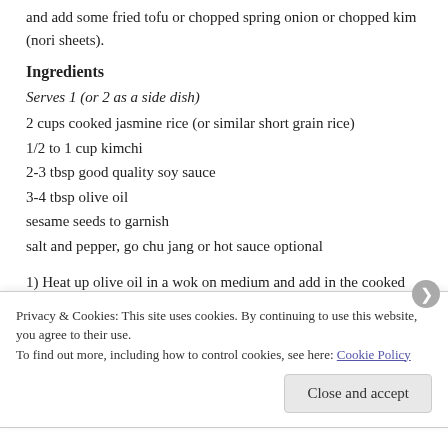and add some fried tofu or chopped spring onion or chopped kim (nori sheets).
Ingredients
Serves 1 (or 2 as a side dish)
2 cups cooked jasmine rice (or similar short grain rice)
1/2 to 1 cup kimchi
2-3 tbsp good quality soy sauce
3-4 tbsp olive oil
sesame seeds to garnish
salt and pepper, go chu jang or hot sauce optional
1) Heat up olive oil in a wok on medium and add in the cooked rice. Stir occasionally till warmed through and
Privacy & Cookies: This site uses cookies. By continuing to use this website, you agree to their use.
To find out more, including how to control cookies, see here: Cookie Policy
Close and accept